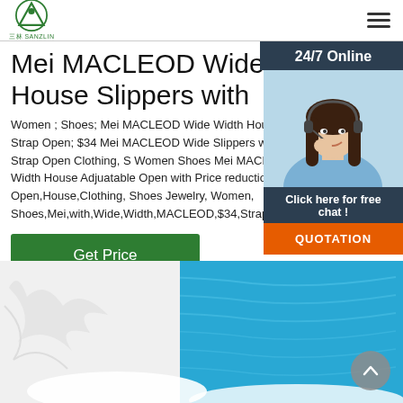三林SANZLIN logo and navigation menu
Mei MACLEOD Wide Width House Slippers with
Women ; Shoes; Mei MACLEOD Wide Width Hou Adjuatable Strap Open; $34 Mei MACLEOD Wide Slippers with Adjuatable Strap Open Clothing, S Women Shoes Mei MACLEOD Wide Width House Adjuatable Open with Price reduction Slippers Open,House,Clothing, Shoes Jewelry, Women, Shoes,Mei,with,Wide,Width,MACLEOD,$34,Strap,S
[Figure (photo): Customer service representative woman wearing headset, smiling, with '24/7 Online' label and 'Click here for free chat!' and 'QUOTATION' button overlay]
[Figure (photo): Bottom section showing white slippers/foam mat with blue water/pool background and scroll-up button]